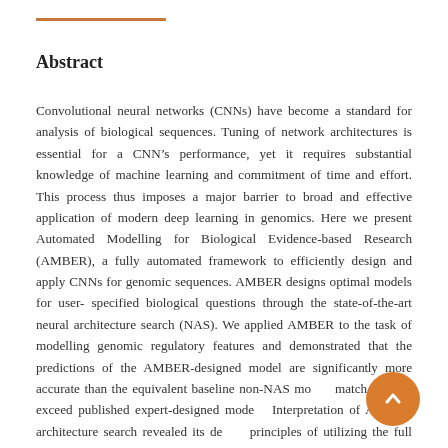Abstract
Convolutional neural networks (CNNs) have become a standard for analysis of biological sequences. Tuning of network architectures is essential for a CNN’s performance, yet it requires substantial knowledge of machine learning and commitment of time and effort. This process thus imposes a major barrier to broad and effective application of modern deep learning in genomics. Here we present Automated Modelling for Biological Evidence-based Research (AMBER), a fully automated framework to efficiently design and apply CNNs for genomic sequences. AMBER designs optimal models for user-specified biological questions through the state-of-the-art neural architecture search (NAS). We applied AMBER to the task of modelling genomic regulatory features and demonstrated that the predictions of the AMBER-designed model are significantly more accurate than the equivalent baseline non-NAS models, match or even exceed published expert-designed models. Interpretation of AMBER architecture search revealed its design principles of utilizing the full space of computational operations